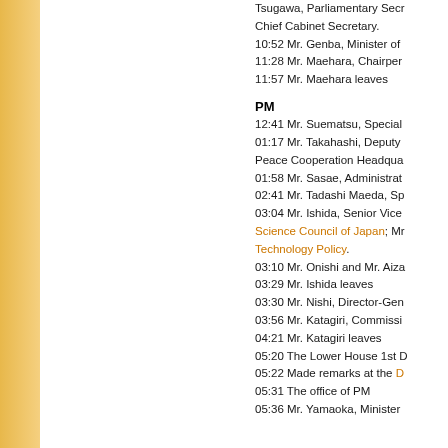Tsugawa, Parliamentary Secretary; Chief Cabinet Secretary. 10:52 Mr. Genba, Minister of 11:28 Mr. Maehara, Chairper 11:57 Mr. Maehara leaves
PM
12:41 Mr. Suematsu, Special 01:17 Mr. Takahashi, Deputy Peace Cooperation Headqua 01:58 Mr. Sasae, Administrat 02:41 Mr. Tadashi Maeda, Sp 03:04 Mr. Ishida, Senior Vice Science Council of Japan; Mr Technology Policy. 03:10 Mr. Onishi and Mr. Aiza 03:29 Mr. Ishida leaves 03:30 Mr. Nishi, Director-Gen 03:56 Mr. Katagiri, Commissi 04:21 Mr. Katagiri leaves 05:20 The Lower House 1st D 05:22 Made remarks at the D 05:31 The office of PM 05:36 Mr. Yamaoka, Minister